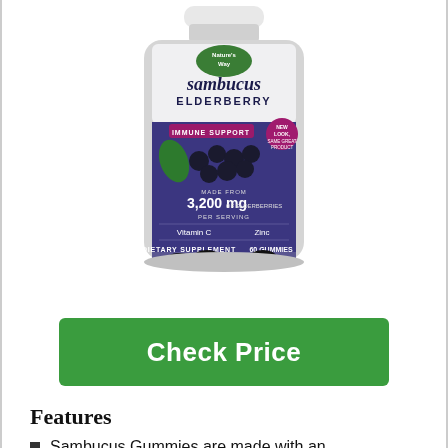[Figure (photo): A bottle of Nature's Way Sambucus Elderberry Immune Support gummies. The label features a purple/blue design with elderberries, showing: Made from 3,200 mg of elderberries per serving, Vitamin C, Zinc, Dietary Supplement, 60 Gummies. A pink badge reads 'New Look, Same Great Product'.]
Check Price
Features
Sambucus Gummies are made with an